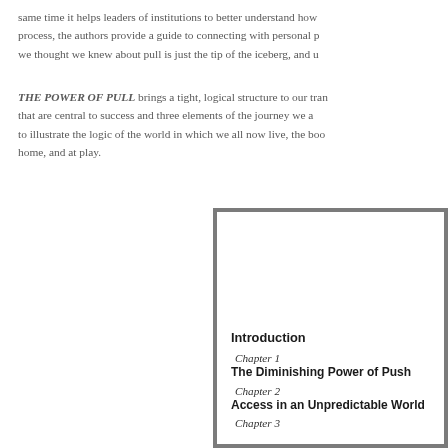same time it helps leaders of institutions to better understand how process, the authors provide a guide to connecting with personal p we thought we knew about pull is just the tip of the iceberg, and u
THE POWER OF PULL brings a tight, logical structure to our tran that are central to success and three elements of the journey we a to illustrate the logic of the world in which we all now live, the boo home, and at play.
[Figure (other): A bordered box showing a partial table of contents with Introduction, Chapter 1 The Diminishing Power of Push, Chapter 2 Access in an Unpredictable World, Chapter 3 (truncated)]